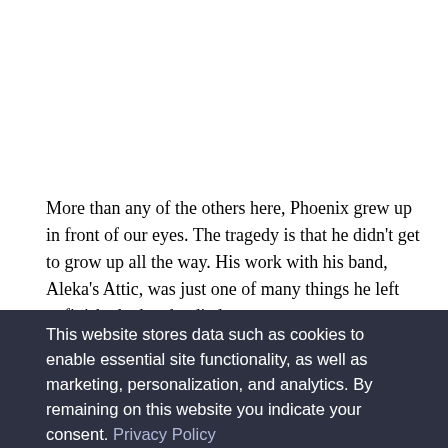More than any of the others here, Phoenix grew up in front of our eyes. The tragedy is that he didn't get to grow up all the way. His work with his band, Aleka's Attic, was just one of many things he left unfinished when he died.
This website stores data such as cookies to enable essential site functionality, as well as marketing, personalization, and analytics. By remaining on this website you indicate your consent. Privacy Policy